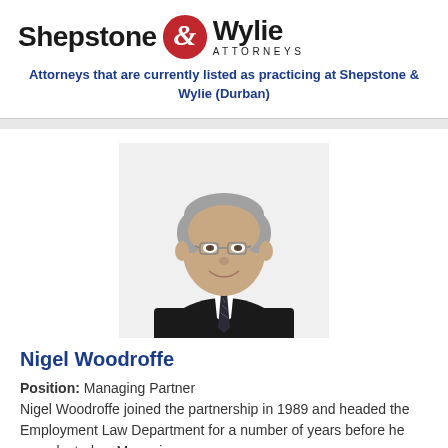[Figure (logo): Shepstone & Wylie Attorneys logo with red circular ampersand emblem]
Attorneys that are currently listed as practicing at Shepstone & Wylie (Durban)
[Figure (photo): Professional headshot of Nigel Woodroffe, a middle-aged man with grey hair, glasses, wearing a dark suit and striped tie, smiling]
Nigel Woodroffe
Position: Managing Partner
Nigel Woodroffe joined the partnership in 1989 and headed the Employment Law Department for a number of years before he was elected as Managing